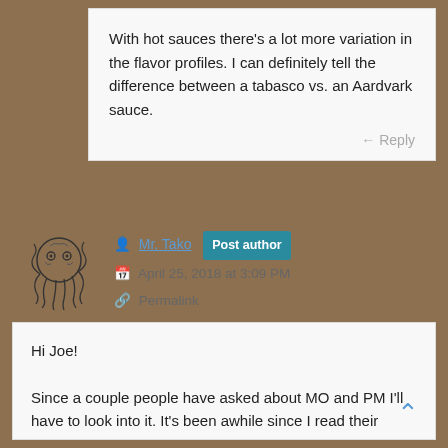With hot sauces there’s a lot more variation in the flavor profiles. I can definitely tell the difference between a tabasco vs. an Aardvark sauce.
← Reply
Mr. Tako Post author
April 25, 2018 at 3:09 PM
Permalink
[Figure (illustration): Octopus avatar illustration in black and white line art style]
Hi Joe!

Since a couple people have asked about MO and PM I’ll have to look into it. It’s been awhile since I read their 10k’s, so I’ll need to get caught-up on all the latest data.